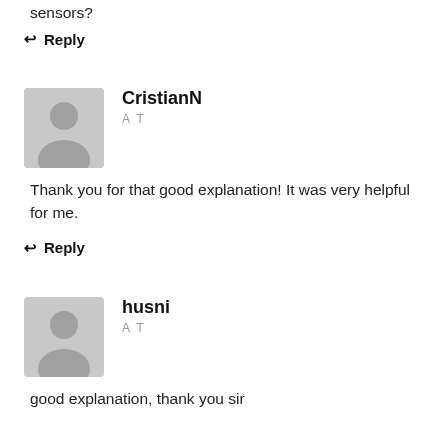sensors?
↩ Reply
CristianN
AT
Thank you for that good explanation! It was very helpful for me.
↩ Reply
husni
AT
good explanation, thank you sir